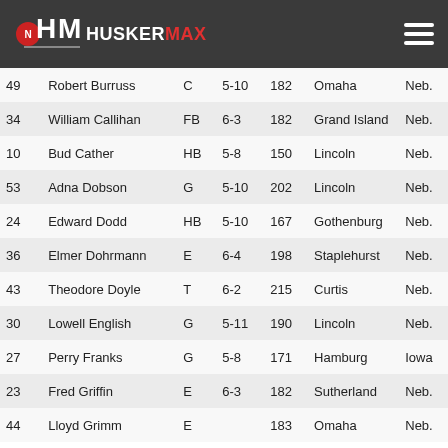HUSKERMAX
| # | Name | Pos | Ht | Wt | City | St |
| --- | --- | --- | --- | --- | --- | --- |
| 49 | Robert Burruss | C | 5-10 | 182 | Omaha | Neb. |
| 34 | William Callihan | FB | 6-3 | 182 | Grand Island | Neb. |
| 10 | Bud Cather | HB | 5-8 | 150 | Lincoln | Neb. |
| 53 | Adna Dobson | G | 5-10 | 202 | Lincoln | Neb. |
| 24 | Edward Dodd | HB | 5-10 | 167 | Gothenburg | Neb. |
| 36 | Elmer Dohrmann | E | 6-4 | 198 | Staplehurst | Neb. |
| 43 | Theodore Doyle | T | 6-2 | 215 | Curtis | Neb. |
| 30 | Lowell English | G | 5-11 | 190 | Lincoln | Neb. |
| 27 | Perry Franks | G | 5-8 | 171 | Hamburg | Iowa |
| 23 | Fred Griffin | E | 6-3 | 182 | Sutherland | Neb. |
| 44 | Lloyd Grimm | E |  | 183 | Omaha | Neb. |